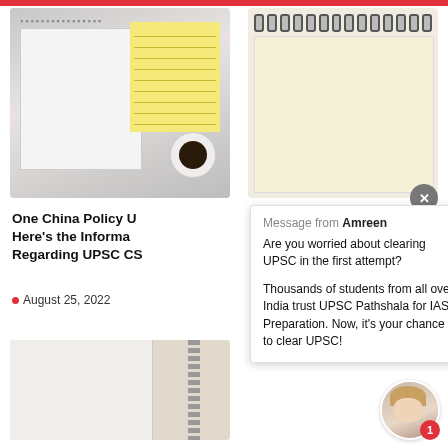[Figure (photo): Two notebooks with yellow sticky notepad and coffee mug on marble surface]
[Figure (photo): Cream/beige spiral notebook on light background]
One China Policy U Here's the Informa Regarding UPSC CS
August 25, 2022
Message from Amreen
Are you worried about clearing UPSC in the first attempt?
Thousands of students from all over India trust UPSC Pathshala for IAS Preparation. Now, it's your chance to clear UPSC!
[Figure (photo): Open spiral notebook on fabric surface, bottom left]
[Figure (photo): Avatar/person photo with notification badge showing 1]